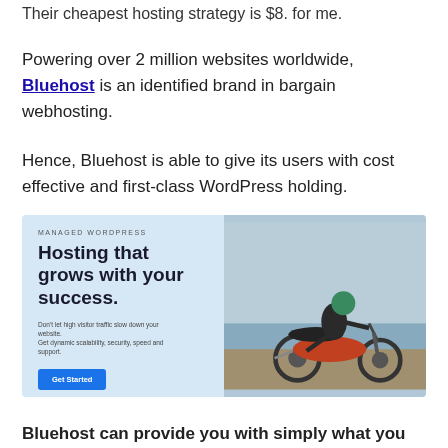Their cheapest hosting strategy is $8. for me.
Powering over 2 million websites worldwide, Bluehost is an identified brand in bargain webhosting.
Hence, Bluehost is able to give its users with cost effective and first-class WordPress holding.
[Figure (screenshot): Bluehost Managed WordPress advertisement: 'Hosting that grows with your success.' with a Get Started button and image of woman on motorcycle]
Bluehost can provide you with simply what you need– strong performance and safety.
Furthermore, it is easy to use as well as beginner friendly, which